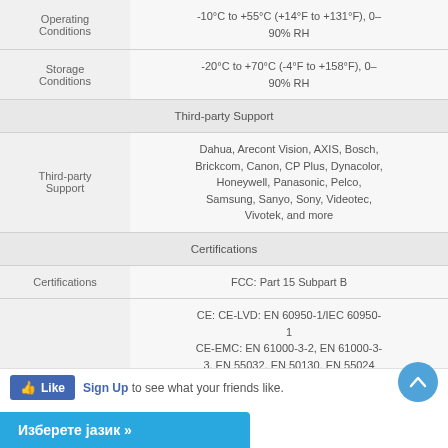| Label | Value |
| --- | --- |
| Operating Conditions | -10°C to +55°C (+14°F to +131°F), 0–90% RH |
| Storage Conditions | -20°C to +70°C (-4°F to +158°F), 0–90% RH |
| Third-party Support (section header) |  |
| Third-party Support | Dahua, Arecont Vision, AXIS, Bosch, Brickcom, Canon, CP Plus, Dynacolor, Honeywell, Panasonic, Pelco, Samsung, Sanyo, Sony, Videotec, Vivotek, and more |
| Certifications (section header) |  |
| Certifications | FCC: Part 15 Subpart B |
|  | CE: CE-LVD: EN 60950-1/IEC 60950-1
CE-EMC: EN 61000-3-2, EN 61000-3-3, EN 55032, EN 50130, EN 55024 |
Like  Sign Up to see what your friends like.
Изберете јазик »